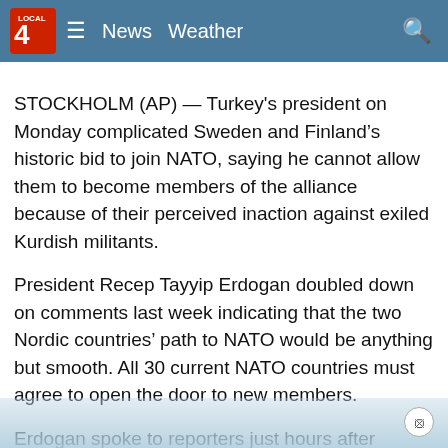Local 4 News | News   Weather
STOCKHOLM (AP) — Turkey's president on Monday complicated Sweden and Finland's historic bid to join NATO, saying he cannot allow them to become members of the alliance because of their perceived inaction against exiled Kurdish militants.
President Recep Tayyip Erdogan doubled down on comments last week indicating that the two Nordic countries' path to NATO would be anything but smooth. All 30 current NATO countries must agree to open the door to new members.
Erdogan spoke to reporters just hours after Sweden joined Finland in announcing it would seek NATO membership in the wake of Russian's invasion of Ukraine, ending more than 200 years of military nonalignment. He accused the two countries of refusing to extradite “terrorists” wanted by him...